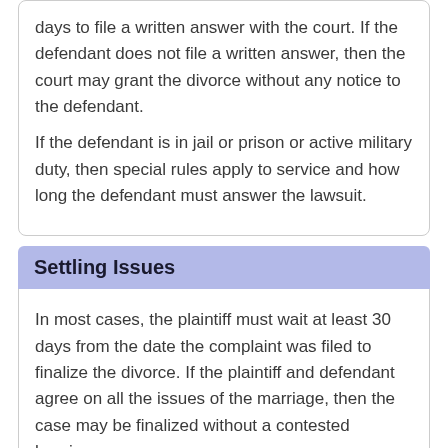days to file a written answer with the court. If the defendant does not file a written answer, then the court may grant the divorce without any notice to the defendant.
If the defendant is in jail or prison or active military duty, then special rules apply to service and how long the defendant must answer the lawsuit.
Settling Issues
In most cases, the plaintiff must wait at least 30 days from the date the complaint was filed to finalize the divorce. If the plaintiff and defendant agree on all the issues of the marriage, then the case may be finalized without a contested hearing.